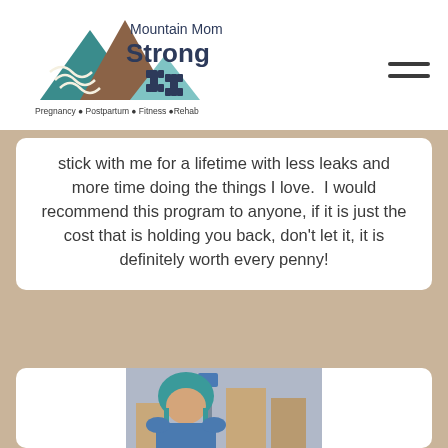Mountain Mom Strong — Pregnancy • Postpartum • Fitness • Rehab
stick with me for a lifetime with less leaks and more time doing the things I love.  I would recommend this program to anyone, if it is just the cost that is holding you back, don't let it, it is definitely worth every penny!
[Figure (photo): A woman wearing a teal/blue helmet outdoors in an urban or suburban setting, looking at the camera. She is wearing a blue top.]